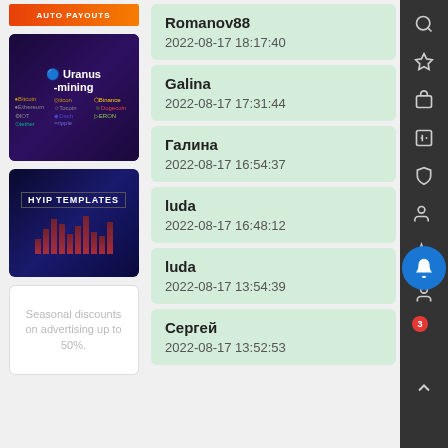[Figure (screenshot): Auto payouts orange banner]
[Figure (screenshot): Uranus mining cryptocurrency ad card with logos for Bitcoin, Ethereum, Tether, Paycore, Tocoin, Binance, Dogecoin, Dash, ERON, Ripple]
[Figure (screenshot): HYIP Templates dark blue ad card with bar chart graphic]
Seasonal discounts on advertising up to 50%.
Romanov88
2022-08-17 18:17:40
Galina
2022-08-17 17:31:44
Галина
2022-08-17 16:54:37
luda
2022-08-17 16:48:12
luda
2022-08-17 13:54:39
Сергей
2022-08-17 13:52:53